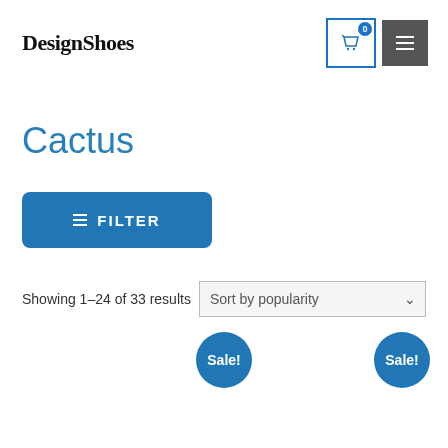DesignShoes
Cactus
≡ FILTER
Showing 1–24 of 33 results  Sort by popularity
Sale!
Sale!